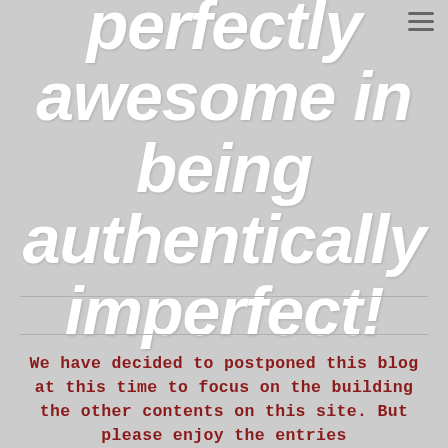perfectly awesome in being authentically imperfect!
We have decided to postponed this blog at this time to focus on the building the other contents on this site. But please enjoy the entries